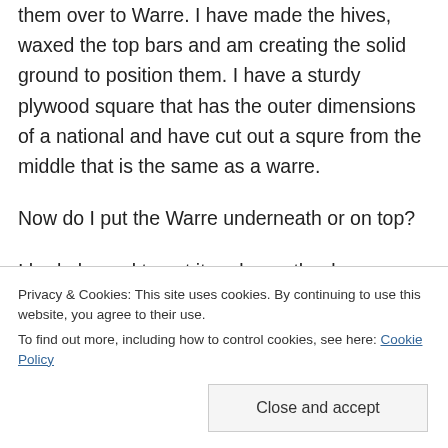them over to Warre. I have made the hives, waxed the top bars and am creating the solid ground to position them. I have a sturdy plywood square that has the outer dimensions of a national and have cut out a squre from the middle that is the same as a warre.
Now do I put the Warre underneath or on top?
I had planned to put it underneath – because it's the natural way to work down and the bees would have to go through the new area to get in
Privacy & Cookies: This site uses cookies. By continuing to use this website, you agree to their use.
To find out more, including how to control cookies, see here: Cookie Policy